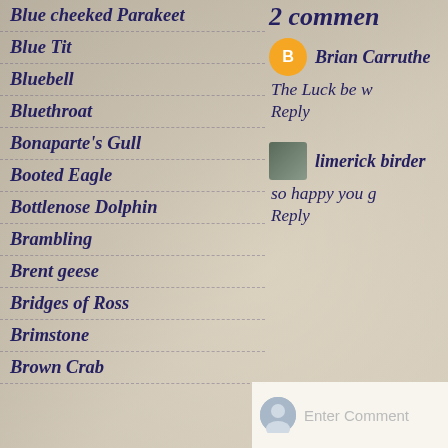Blue cheeked Parakeet
Blue Tit
Bluebell
Bluethroat
Bonaparte's Gull
Booted Eagle
Bottlenose Dolphin
Brambling
Brent geese
Bridges of Ross
Brimstone
Brown Crab
2 comments
Brian Carruthe
The Luck be w
Reply
[Figure (photo): Small avatar photo of a person]
limerick birder
so happy you g
Reply
Enter Comment